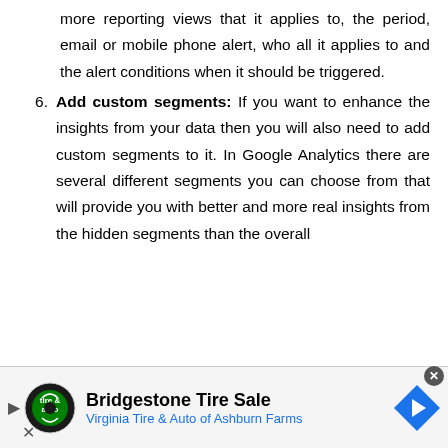more reporting views that it applies to, the period, email or mobile phone alert, who all it applies to and the alert conditions when it should be triggered.
6. Add custom segments: If you want to enhance the insights from your data then you will also need to add custom segments to it. In Google Analytics there are several different segments you can choose from that will provide you with better and more real insights from the hidden segments than the overall
[Figure (other): Advertisement banner: Bridgestone Tire Sale - Virginia Tire & Auto of Ashburn Farms, with tire & auto logo and navigation arrow icon]